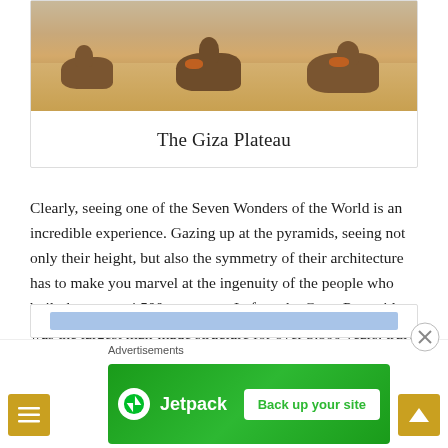[Figure (photo): Camels resting on sandy desert ground at the Giza Plateau]
The Giza Plateau
Clearly, seeing one of the Seven Wonders of the World is an incredible experience. Gazing up at the pyramids, seeing not only their height, but also the symmetry of their architecture has to make you marvel at the ingenuity of the people who built them over 4,500 years ago. In fact, the Great Pyramid was the largest man-made structure for over 3,800 years, truly an impressive feat.
[Figure (screenshot): Partial blue bar visible at bottom of content card]
Advertisements
[Figure (logo): Jetpack green banner ad with logo and 'Back up your site' button]